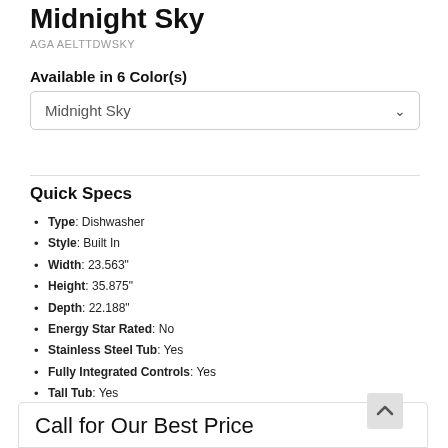Midnight Sky
AGA AELTTDWSKY
Available in 6 Color(s)
Midnight Sky
Quick Specs
Type: Dishwasher
Style: Built In
Width: 23.563"
Height: 35.875"
Depth: 22.188"
Energy Star Rated: No
Stainless Steel Tub: Yes
Fully Integrated Controls: Yes
Tall Tub: Yes
Decibel Level: 48.0 dB
WiFi Connected: No
Call for Our Best Price